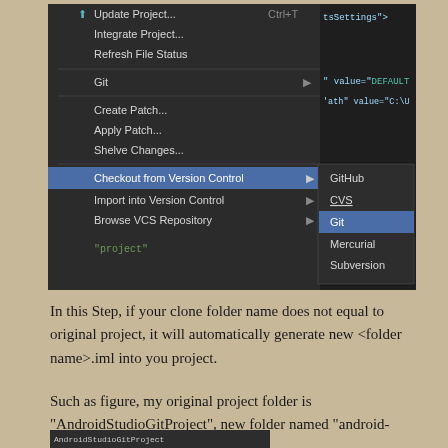[Figure (screenshot): IDE menu showing VCS options including 'Checkout from Version Control' highlighted in blue with submenu showing Git, CVS, Mercurial, Subversion options; Git is highlighted. Code editor visible in background showing XML code.]
In this Step, if your clone folder name does not equal to original project, it will automatically generate new <folder name>.iml into you project.
Such as figure, my original project folder is "AndroidStudioGitProject", new folder named "android-sutdio-git"
[Figure (screenshot): Bottom bar of IDE showing project file path]